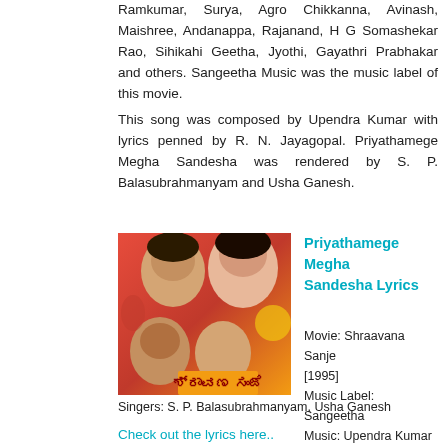Ramkumar, Surya, Agro Chikkanna, Avinash, Maishree, Andanappa, Rajanand, H G Somashekar Rao, Sihikahi Geetha, Jyothi, Gayathri Prabhakar and others. Sangeetha Music was the music label of this movie.
This song was composed by Upendra Kumar with lyrics penned by R. N. Jayagopal. Priyathamege Megha Sandesha was rendered by S. P. Balasubrahmanyam and Usha Ganesh.
[Figure (photo): Movie poster for Shraavana Sanje (1995) showing actors' faces on a colorful background with Kannada script title]
Priyathamege Megha Sandesha Lyrics
Movie: Shraavana Sanje [1995]
Music Label: Sangeetha
Music: Upendra Kumar
Lyrics: R. N. Jayagopal
Singers: S. P. Balasubrahmanyam, Usha Ganesh
Check out the lyrics here..